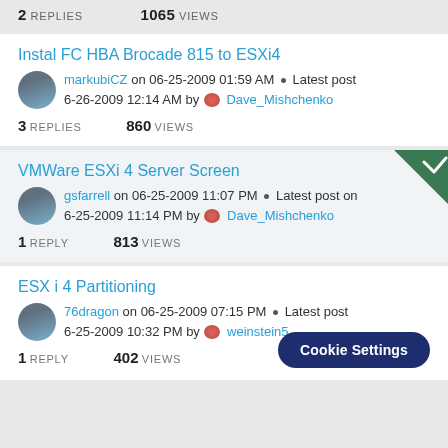2 REPLIES   1065 VIEWS
Instal FC HBA Brocade 815 to ESXi4
markubiCZ on 06-25-2009 01:59 AM · Latest post 6-26-2009 12:14 AM by Dave_Mishchenko
3 REPLIES   860 VIEWS
VMWare ESXi 4 Server Screen
gsfarrell on 06-25-2009 11:07 PM · Latest post on 6-25-2009 11:14 PM by Dave_Mishchenko
1 REPLY   813 VIEWS
ESX i 4 Partitioning
76dragon on 06-25-2009 07:15 PM · Latest post 6-25-2009 10:32 PM by weinstein5
1 REPLY   402 VIEWS